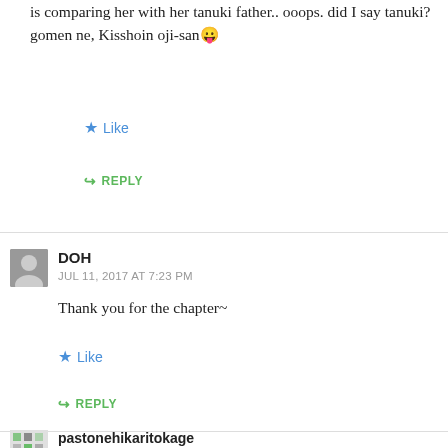is comparing her with her tanuki father.. ooops. did I say tanuki? gomen ne, Kisshoin oji-san 😛
Like
REPLY
DOH
JUL 11, 2017 AT 7:23 PM
Thank you for the chapter~
Like
REPLY
pastonehikaritokage
JUL 11, 2017 AT 7:31 PM